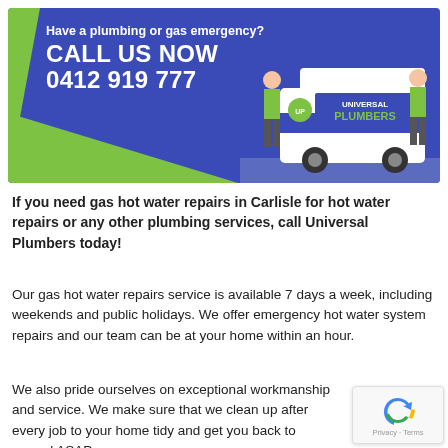[Figure (infographic): Universal Plumbers banner with blue background, green accents, large white text 'Have a plumbing or gas emergency? CALL US NOW 0412 919 777', and photo of two plumbers in green shirts standing next to a branded van.]
If you need gas hot water repairs in Carlisle for hot water repairs or any other plumbing services, call Universal Plumbers today!
Our gas hot water repairs service is available 7 days a week, including weekends and public holidays. We offer emergency hot water system repairs and our team can be at your home within an hour.
We also pride ourselves on exceptional workmanship and service. We make sure that we clean up after every job to your home tidy and get you back to normal ASAP.